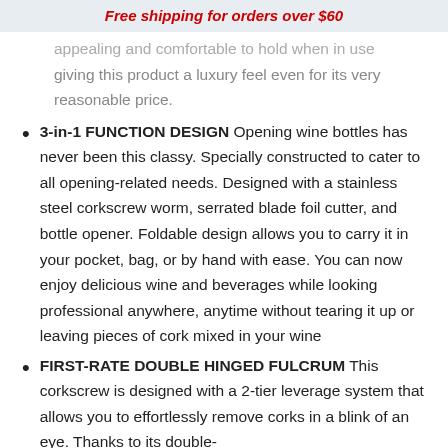Free shipping for orders over $60
appealing and comfortable to hold when in use giving this product a luxury feel even for its very reasonable price.
3-in-1 FUNCTION DESIGN Opening wine bottles has never been this classy. Specially constructed to cater to all opening-related needs. Designed with a stainless steel corkscrew worm, serrated blade foil cutter, and bottle opener. Foldable design allows you to carry it in your pocket, bag, or by hand with ease. You can now enjoy delicious wine and beverages while looking professional anywhere, anytime without tearing it up or leaving pieces of cork mixed in your wine
FIRST-RATE DOUBLE HINGED FULCRUM This corkscrew is designed with a 2-tier leverage system that allows you to effortlessly remove corks in a blink of an eye. Thanks to its double-